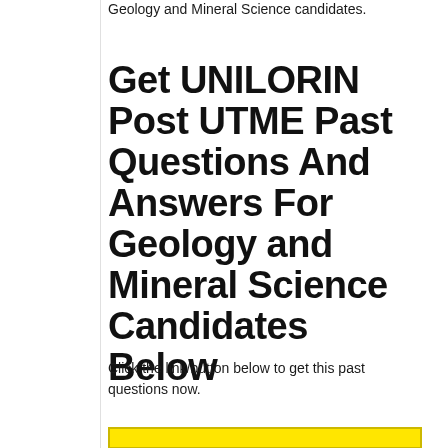Geology and Mineral Science candidates.
Get UNILORIN Post UTME Past Questions And Answers For Geology and Mineral Science Candidates Below
Click the link/button below to get this past questions now.
[Figure (other): Yellow button/banner at the bottom of the page]